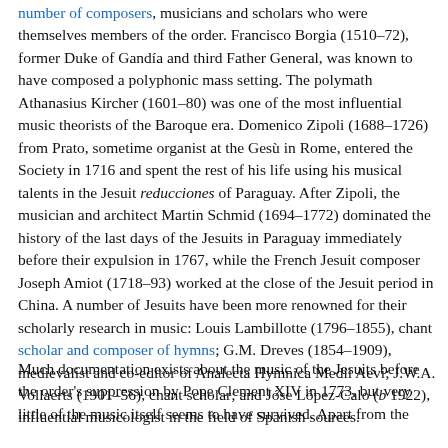number of composers, musicians and scholars who were themselves members of the order. Francisco Borgia (1510–72), former Duke of Gandía and third Father General, was known to have composed a polyphonic mass setting. The polymath Athanasius Kircher (1601–80) was one of the most influential music theorists of the Baroque era. Domenico Zipoli (1688–1726) from Prato, sometime organist at the Gesù in Rome, entered the Society in 1716 and spent the rest of his life using his musical talents in the Jesuit reducciones of Paraguay. After Zipoli, the musician and architect Martin Schmid (1694–1772) dominated the history of the last days of the Jesuits in Paraguay immediately before their expulsion in 1767, while the French Jesuit composer Joseph Amiot (1718–93) worked at the close of the Jesuit period in China. A number of Jesuits have been more renowned for their scholarly research in music: Louis Lambillotte (1796–1855), chant scholar and composer of hymns; G.M. Dreves (1854–1909), medievalist and co-editor of Analecta Hymnica Medii Aevi; J.W.A. Vollaerts (1901–56), chant scholar; and Jóse López-Calo (b 1922), influential musicologist in the field of Spanish sources.
Much documentation exists about the music of the Jesuits before the order's suppression by Pope Clement XIV in 1773, but very little of the music itself seems to have survived. Apart from the